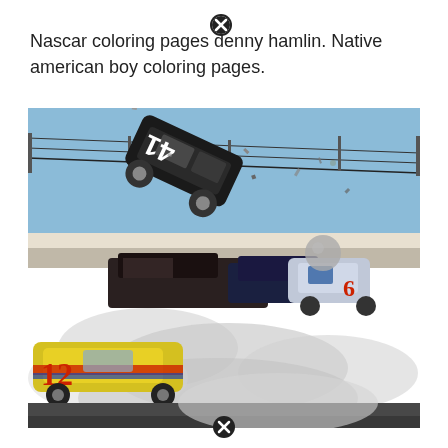[Figure (other): Close button (X icon) at top center of page]
Nascar coloring pages denny hamlin. Native american boy coloring pages.
[Figure (photo): NASCAR crash photo showing a car (number 41) flipping in the air over the track wall during a multi-car accident, with car number 12 (yellow) visible in the lower left and car number 6 on the right, smoke and debris everywhere.]
[Figure (other): Close button (X icon) at bottom center of page]